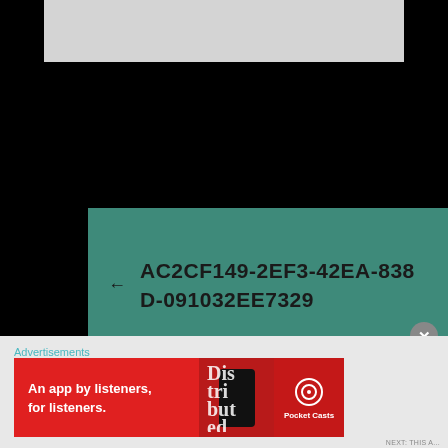[Figure (screenshot): Top grey image area, partially visible]
← AC2CF149-2EF3-42EA-838D-091032EE7329
SEARCH ...
Advertisements
[Figure (photo): Pocket Casts advertisement banner: An app by listeners, for listeners.]